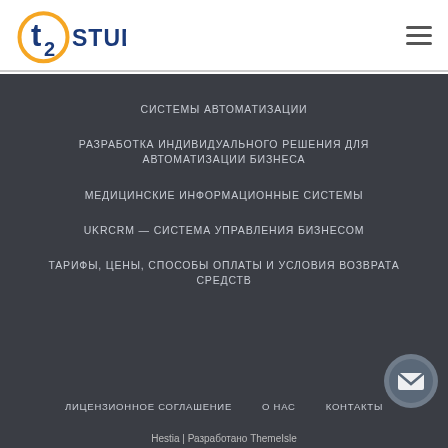[Figure (logo): T2 Studio logo with orange circle and blue text 'STUDIO']
СИСТЕМЫ АВТОМАТИЗАЦИИ
РАЗРАБОТКА ИНДИВИДУАЛЬНОГО РЕШЕНИЯ ДЛЯ АВТОМАТИЗАЦИИ БИЗНЕСА
МЕДИЦИНСКИЕ ИНФОРМАЦИОННЫЕ СИСТЕМЫ
UKRCRM — СИСТЕМА УПРАВЛЕНИЯ БИЗНЕСОМ
ТАРИФЫ, ЦЕНЫ, СПОСОБЫ ОПЛАТЫ И УСЛОВИЯ ВОЗВРАТА СРЕДСТВ
ЛИЦЕНЗИОННОЕ СОГЛАШЕНИЕ
О НАС
КОНТАКТЫ
Hestia | Разработано ThemeIsle